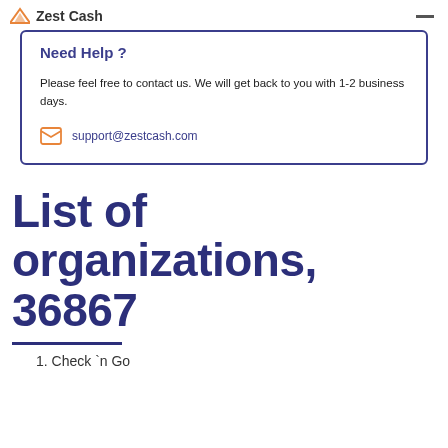Zest Cash
Need Help ?
Please feel free to contact us. We will get back to you with 1-2 business days.
support@zestcash.com
List of organizations, 36867
1. Check `n Go